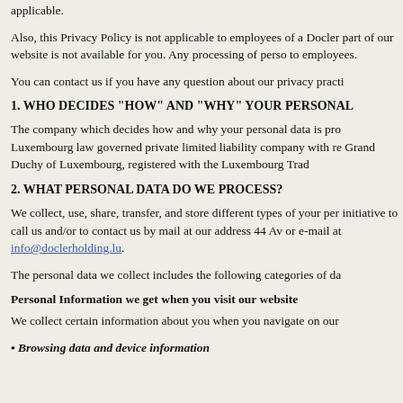applicable.
Also, this Privacy Policy is not applicable to employees of a Docler part of our website is not available for you. Any processing of person to employees.
You can contact us if you have any question about our privacy practi
1. WHO DECIDES “HOW” AND “WHY” YOUR PERSONAL
The company which decides how and why your personal data is pro Luxembourg law governed private limited liability company with re Grand Duchy of Luxembourg, registered with the Luxembourg Trad
2. WHAT PERSONAL DATA DO WE PROCESS?
We collect, use, share, transfer, and store different types of your pers initiative to call us and/or to contact us by mail at our address 44 Av or e-mail at info@doclerholding.lu.
The personal data we collect includes the following categories of da
Personal Information we get when you visit our website
We collect certain information about you when you navigate on our
Browsing data and device information